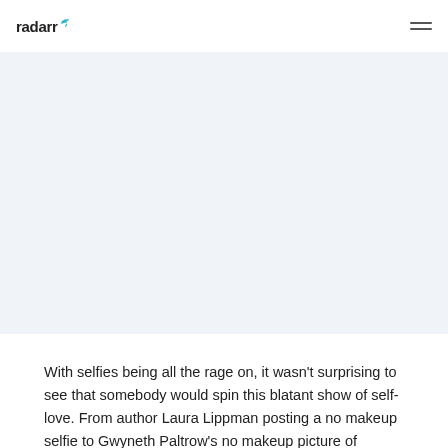radarr [logo]
[Figure (photo): Large image area with light blue-grey background, appearing to be a placeholder or partially loaded image area]
With selfies being all the rage on, it wasn't surprising to see that somebody would spin this blatant show of self-love. From author Laura Lippman posting a no makeup selfie to Gwyneth Paltrow's no makeup picture of herself,